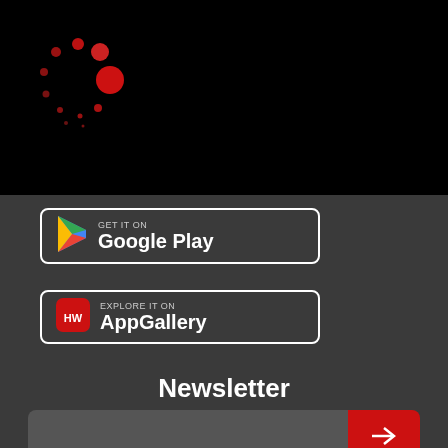[Figure (logo): BrightFlixx logo: circular arrangement of red dots on black background]
[Figure (screenshot): GET IT ON Google Play store badge button with Google Play triangle logo]
[Figure (screenshot): EXPLORE IT ON AppGallery badge button with Huawei red logo]
Newsletter
[Figure (other): Newsletter email input field with red arrow submit button]
2022 BrightFlixx ©®™ All rights reserved.